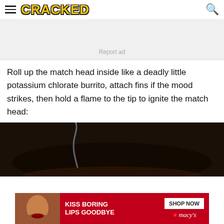CRACKED
[Figure (other): Advertisement placeholder box with 'Report ad' text]
Roll up the match head inside like a deadly little potassium chlorate burrito, attach fins if the mood strikes, then hold a flame to the tip to ignite the match head:
[Figure (photo): Dark dramatic photo with smoke/flame, associated with article about igniting a match head rocket]
[Figure (other): Macy's advertisement banner: 'KISS BORING LIPS GOODBYE' with SHOP NOW button and Macy's star logo]